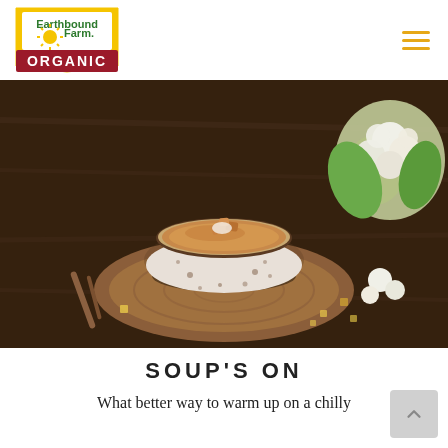[Figure (logo): Earthbound Farm Organic logo — green and yellow sun design with red banner reading ORGANIC]
[Figure (photo): A bowl of creamy soup topped with croutons and garnish, placed on a rustic wooden board, with cauliflower and vegetables in the background on a dark wooden table]
SOUP'S ON
What better way to warm up on a chilly